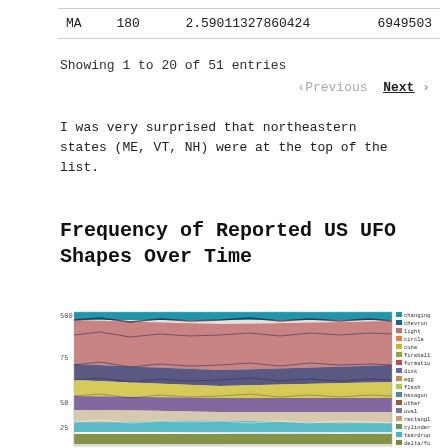| MA | 180 | 2.59011327860424 | 6949503 |
Showing 1 to 20 of 51 entries
‹Previous  Next ›
I was very surprised that northeastern states (ME, VT, NH) were at the top of the list.
Frequency of Reported US UFO Shapes Over Time
[Figure (area-chart): Stacked area chart showing frequency of reported US UFO shapes over time. Multiple colored bands represent different UFO shapes (changing, chevron, light, circle, fireball, cylinder, diamond, disk, egg, flash, formation, other, oval, rectangle, sphere, teardrop, triangle, unknown) stacked over time. Legend shown on right side. Y-axis appears to go from 0 to 500.]